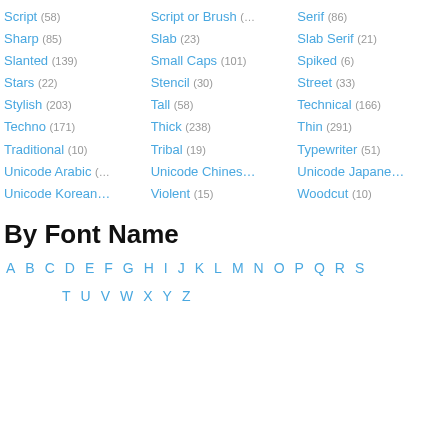Script (58)
Script or Brush (…
Serif (86)
Sharp (85)
Slab (23)
Slab Serif (21)
Slanted (139)
Small Caps (101)
Spiked (6)
Stars (22)
Stencil (30)
Street (33)
Stylish (203)
Tall (58)
Technical (166)
Techno (171)
Thick (238)
Thin (291)
Traditional (10)
Tribal (19)
Typewriter (51)
Unicode Arabic (…
Unicode Chines…
Unicode Japane…
Unicode Korean…
Violent (15)
Woodcut (10)
By Font Name
A B C D E F G H I J K L M N O P Q R S T U V W X Y Z